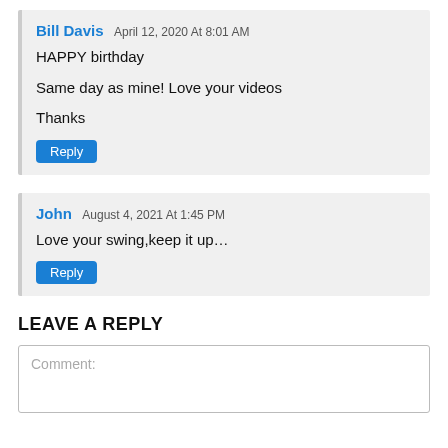Bill Davis April 12, 2020 At 8:01 AM
HAPPY birthday
Same day as mine! Love your videos
Thanks
Reply
John August 4, 2021 At 1:45 PM
Love your swing,keep it up…
Reply
LEAVE A REPLY
Comment: